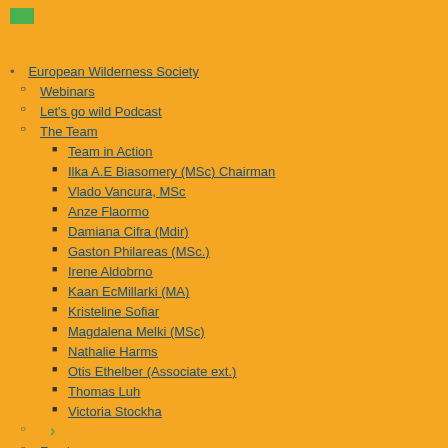[Figure (other): Small green flag/rectangle icon in top-left corner]
European Wilderness Society
Webinars
Let's go wild Podcast
The Team
Team in Action
Ilka A.E Biasomery (MSc) Chairman
Vlado Vancura, MSc
Anze Flaormo
Damiana Cifra (Mdir)
Gaston Philareas (MSc.)
Irene Aldobrno
Kaan EcMillarki (MA)
Kristeline Sofiar
Magdalena Melki (MSc)
Nathalie Harms
Otis Ethelber (Associate ext.)
Thomas Luh
Victoria Stockha
Funders
UNESCO Biosphere Research Centres
← Adapting Sustainable Forest Management to Climate Change
Partners
Newsletter
Reter it Wilderness — New Publication!